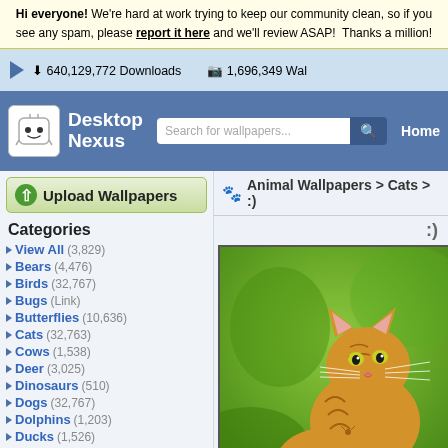Hi everyone! We're hard at work trying to keep our community clean, so if you see any spam, please report it here and we'll review ASAP! Thanks a million!
640,129,772 Downloads   1,696,349 Wallpapers
[Figure (logo): Desktop Nexus logo with white robot mascot icon and site name]
Search for wallpapers...
Home
Upload Wallpapers
Animal Wallpapers > Cats > :)
Categories
View All (3,829)
Bears (4,476)
Birds (32,767)
Bugs (Link)
Butterflies (10,636)
Cats (32,763)
Cows (1,538)
Deer (3,025)
Dinosaurs (510)
Dogs (32,767)
Dolphins (1,203)
Ducks (1,526)
Elephants (1,302)
Fish (3,162)
Frogs (5,708)
:)
[Figure (photo): Orange tabby kitten leaping or pouncing against a green blurred background]